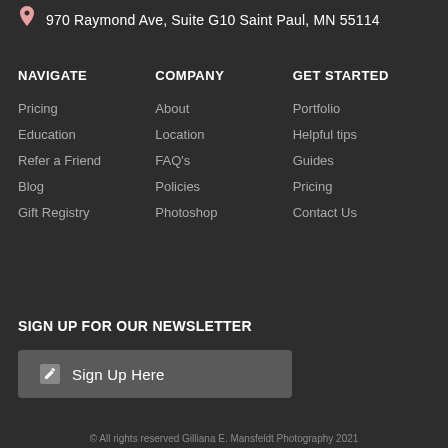970 Raymond Ave, Suite G10 Saint Paul, MN 55114
NAVIGATE
COMPANY
GET STARTED
Pricing
Education
Refer a Friend
Blog
Gift Registry
About
Location
FAQ's
Policies
Photoshop
Portfolio
Helpful tips
Guides
Pricing
Contact Us
SIGN UP FOR OUR NEWSLETTER
Sign Up Here
© All rights reserved Gilliana E. Mansfeldt Photography 2021